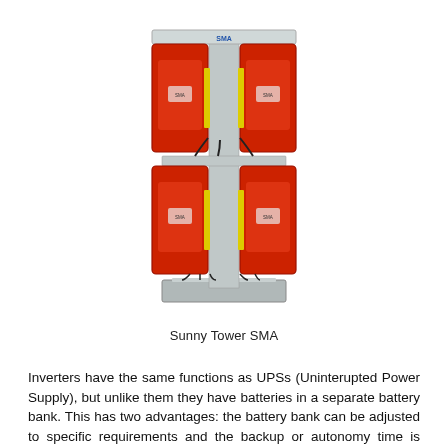[Figure (photo): Photograph of a Sunny Tower SMA device — a tall metal rack unit with four large red inverter modules (two per level, stacked vertically) mounted on a metal post with a top shelf and a square base plate. Cables are visible at the bottom connections.]
Sunny Tower SMA
Inverters have the same functions as UPSs (Uninterupted Power Supply), but unlike them they have batteries in a separate battery bank. This has two advantages: the battery bank can be adjusted to specific requirements and the backup or autonomy time is longer.